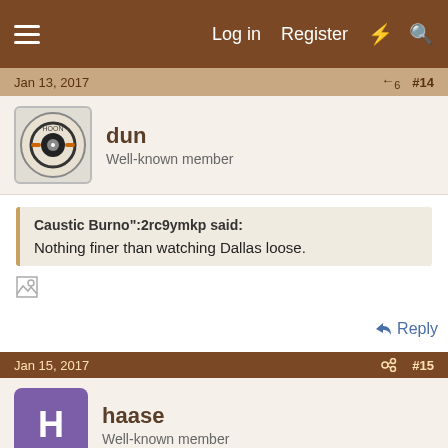Log in   Register
Jan 13, 2017   #14
dun
Well-known member
Caustic Burno":2rc9ymkp said:
Nothing finer than watching Dallas loose.
Reply
Jan 15, 2017   #15
haase
Well-known member
no, nothing is better than watching Americas true team